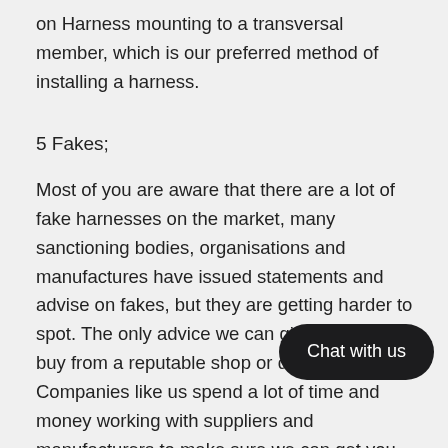on Harness mounting to a transversal member, which is our preferred method of installing a harness.
5 Fakes;
Most of you are aware that there are a lot of fake harnesses on the market, many sanctioning bodies, organisations and manufactures have issued statements and advise on fakes, but they are getting harder to spot. The only advice we can give is to only buy from a reputable shop or dealer. Companies like us spend a lot of time and money working with suppliers and manufacturers to make sure we can get you the best products at the best prices (like our new FIA approved harnesses). If you see a good brand seatbelt at a really cheap price, sometimes even too cheap for one but wait there is a pair...